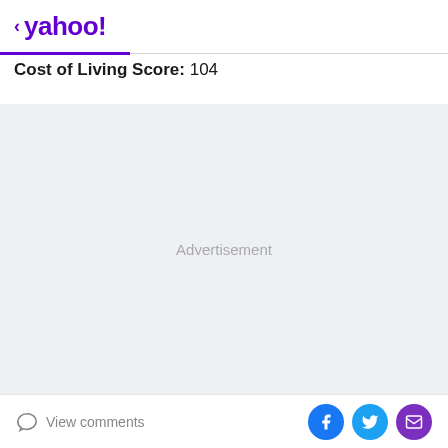< yahoo!
Cost of Living Score: 104
[Figure (other): Advertisement placeholder area with light gray background]
View comments | Facebook share | Twitter share | Email share